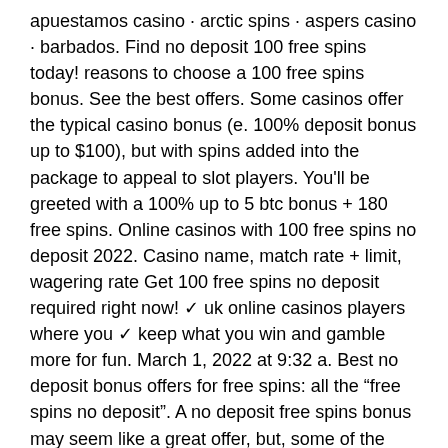apuestamos casino · arctic spins · aspers casino · barbados. Find no deposit 100 free spins today! reasons to choose a 100 free spins bonus. See the best offers. Some casinos offer the typical casino bonus (e. 100% deposit bonus up to $100), but with spins added into the package to appeal to slot players. You'll be greeted with a 100% up to 5 btc bonus + 180 free spins. Online casinos with 100 free spins no deposit 2022. Casino name, match rate + limit, wagering rate Get 100 free spins no deposit required right now! ✓ uk online casinos players where you ✓ keep what you win and gamble more for fun. March 1, 2022 at 9:32 a. Best no deposit bonus offers for free spins: all the “free spins no deposit”. A no deposit free spins bonus may seem like a great offer, but, some of the casino bonuses come with very difficult wagering requirements before you can. Online casinos with 100 free spins no deposit 2022. Continue on next page...